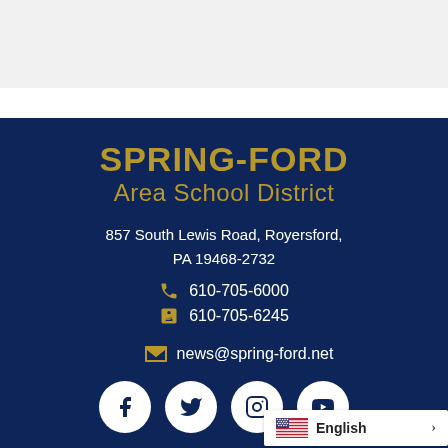SPRING-FORD Area School District
857 South Lewis Road, Royersford, PA 19468-2732
610-705-6000
610-705-6245
news@spring-ford.net
[Figure (other): Social media icons: Facebook, Twitter, Instagram, YouTube]
English